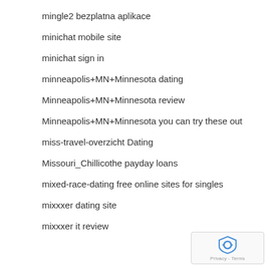mingle2 bezplatna aplikace
minichat mobile site
minichat sign in
minneapolis+MN+Minnesota dating
Minneapolis+MN+Minnesota review
Minneapolis+MN+Minnesota you can try these out
miss-travel-overzicht Dating
Missouri_Chillicothe payday loans
mixed-race-dating free online sites for singles
mixxxer dating site
mixxxer it review
[Figure (logo): Google reCAPTCHA badge with shield icon and Privacy - Terms text]